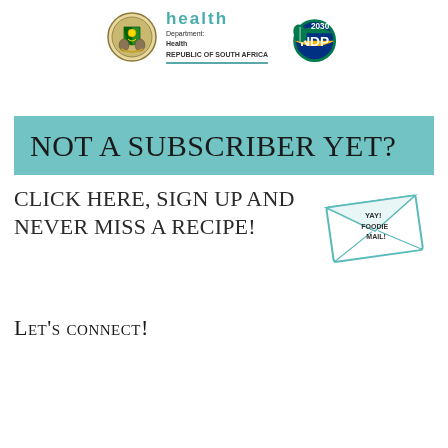[Figure (logo): South Africa Department of Health logo with coat of arms, 'health' text in teal, 'Department: Health REPUBLIC OF SOUTH AFRICA' subtitle, and NDP 2030 logo]
NOT A SUBSCRIBER YET?
CLICK HERE, SIGN UP AND NEVER MISS A RECIPE!
[Figure (illustration): Envelope icon with text 'YAY! FOODIE MAIL!']
Let's connect!